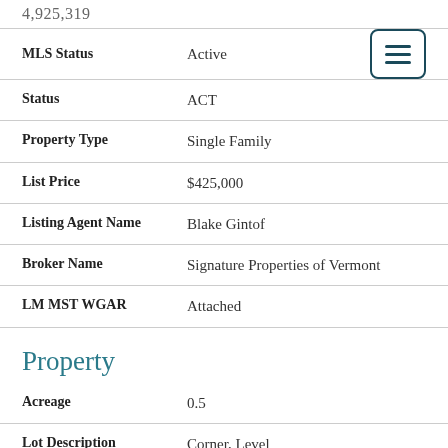4,925,319
| Field | Value |
| --- | --- |
| MLS Status | Active |
| Status | ACT |
| Property Type | Single Family |
| List Price | $425,000 |
| Listing Agent Name | Blake Gintof |
| Broker Name | Signature Properties of Vermont |
| LM MST WGAR | Attached |
Property
| Field | Value |
| --- | --- |
| Acreage | 0.5 |
| Lot Description | Corner, Level |